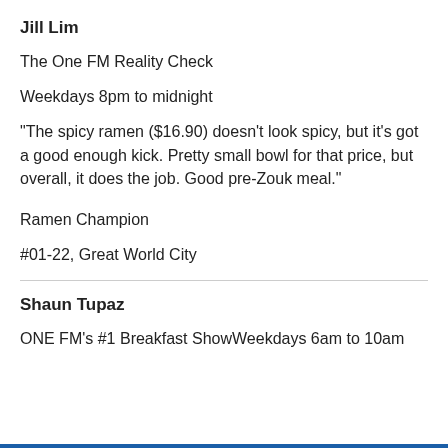Jill Lim
The One FM Reality Check
Weekdays 8pm to midnight
"The spicy ramen ($16.90) doesn't look spicy, but it's got a good enough kick. Pretty small bowl for that price, but overall, it does the job. Good pre-Zouk meal."
Ramen Champion
#01-22, Great World City
Shaun Tupaz
ONE FM's #1 Breakfast ShowWeekdays 6am to 10am